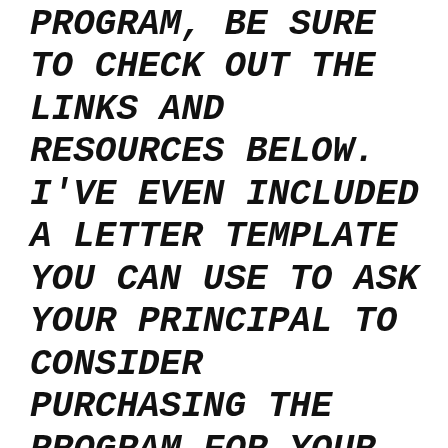PROGRAM, BE SURE TO CHECK OUT THE LINKS AND RESOURCES BELOW. I'VE EVEN INCLUDED A LETTER TEMPLATE YOU CAN USE TO ASK YOUR PRINCIPAL TO CONSIDER PURCHASING THE PROGRAM FOR YOUR SCHOOL WITH SCHOOL FUNDING.
YOU DESERVE HAPPINESS, MY FRIEND. SO REMEMBER,